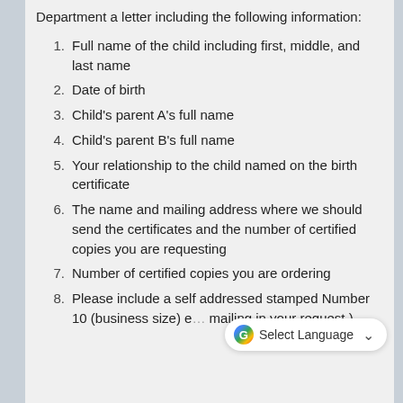Department a letter including the following information:
Full name of the child including first, middle, and last name
Date of birth
Child's parent A's full name
Child's parent B's full name
Your relationship to the child named on the birth certificate
The name and mailing address where we should send the certificates and the number of certified copies you are requesting
Number of certified copies you are ordering
Please include a self addressed stamped Number 10 (business size) e… mailing in your request.)